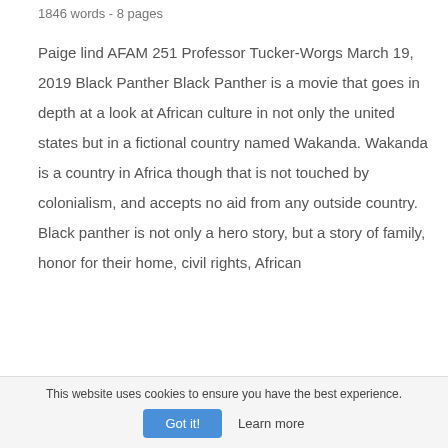1846 words - 8 pages
Paige lind AFAM 251 Professor Tucker-Worgs March 19, 2019 Black Panther Black Panther is a movie that goes in depth at a look at African culture in not only the united states but in a fictional country named Wakanda. Wakanda is a country in Africa though that is not touched by colonialism, and accepts no aid from any outside country. Black panther is not only a hero story, but a story of family, honor for their home, civil rights, African
This website uses cookies to ensure you have the best experience.
Got it!
Learn more